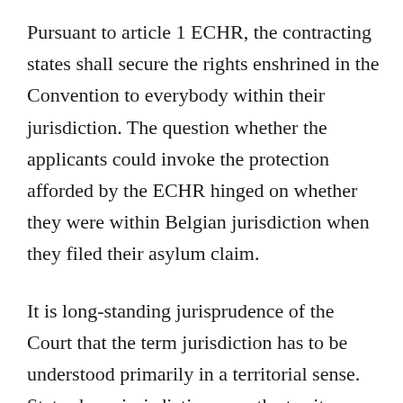Pursuant to article 1 ECHR, the contracting states shall secure the rights enshrined in the Convention to everybody within their jurisdiction. The question whether the applicants could invoke the protection afforded by the ECHR hinged on whether they were within Belgian jurisdiction when they filed their asylum claim.
It is long-standing jurisprudence of the Court that the term jurisdiction has to be understood primarily in a territorial sense. States have jurisdiction over the territory within their